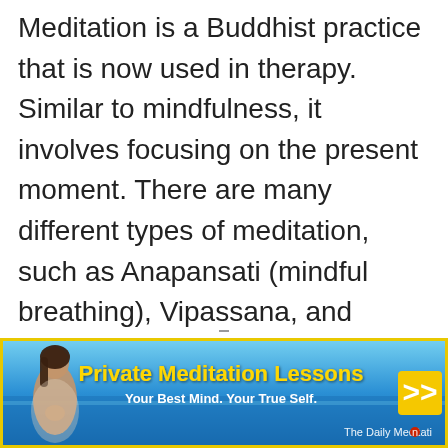Meditation is a Buddhist practice that is now used in therapy. Similar to mindfulness, it involves focusing on the present moment. There are many different types of meditation, such as Anapansati (mindful breathing), Vipassana, and guided meditations for brain fog. And research shows that meditating can help.
[Figure (infographic): Advertisement banner for 'Private Meditation Lessons' with blue ocean background, woman meditating on left, yellow bold title text, white subtitle 'Your Best Mind. Your True Self.', yellow double-arrow on right, and 'The Daily Meditation' branding at bottom right.]